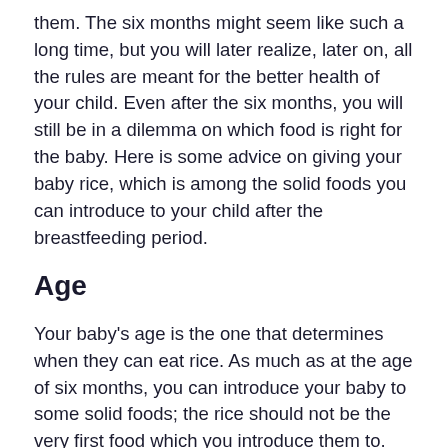them. The six months might seem like such a long time, but you will later realize, later on, all the rules are meant for the better health of your child. Even after the six months, you will still be in a dilemma on which food is right for the baby. Here is some advice on giving your baby rice, which is among the solid foods you can introduce to your child after the breastfeeding period.
Age
Your baby's age is the one that determines when they can eat rice. As much as at the age of six months, you can introduce your baby to some solid foods; the rice should not be the very first food which you introduce them to. Such times call for foods like vegetables and fruits as the baby's system is meant to learn to digest solid foods first. The learning process takes time; therefore, you have to be patient with your baby. At eight months, you can now introduce rice because their system is already at a more mature stage to consume rice without